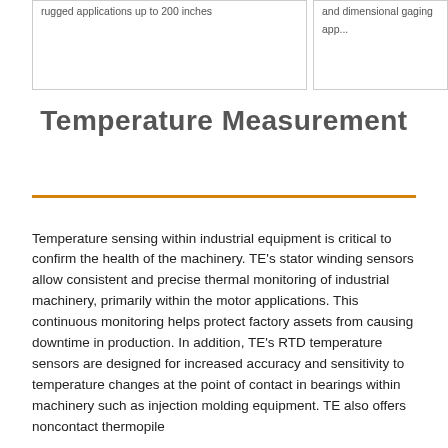rugged applications up to 200 inches
and dimensional gaging app...
Temperature Measurement
Temperature sensing within industrial equipment is critical to confirm the health of the machinery. TE's stator winding sensors allow consistent and precise thermal monitoring of industrial machinery, primarily within the motor applications. This continuous monitoring helps protect factory assets from causing downtime in production. In addition, TE's RTD temperature sensors are designed for increased accuracy and sensitivity to temperature changes at the point of contact in bearings within machinery such as injection molding equipment. TE also offers noncontact thermopile